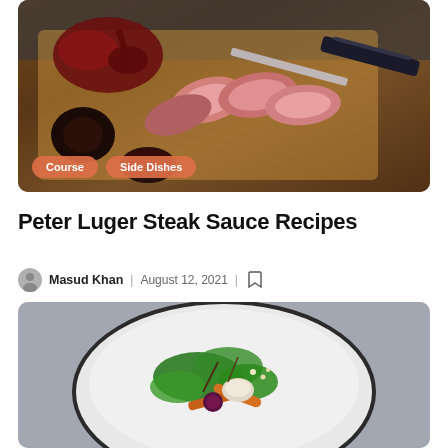[Figure (photo): Top-down photo of sliced steak on a wooden cutting board with dark sauce being poured, a knife visible, with orange pill-shaped tags labeled 'Course' and 'Side Dishes' at the bottom left]
Peter Luger Steak Sauce Recipes
Masud Khan | August 12, 2021 | [bookmark icon]
[Figure (photo): Top-down photo of a white bowl containing a salad with green vegetables, carrots, mushrooms, berries, and various garnishes on a grey surface]